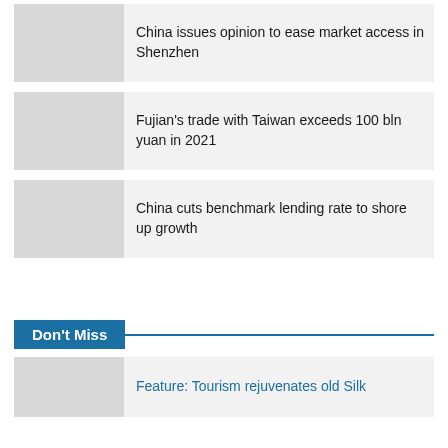China issues opinion to ease market access in Shenzhen
Fujian's trade with Taiwan exceeds 100 bln yuan in 2021
China cuts benchmark lending rate to shore up growth
Don't Miss
Feature: Tourism rejuvenates old Silk